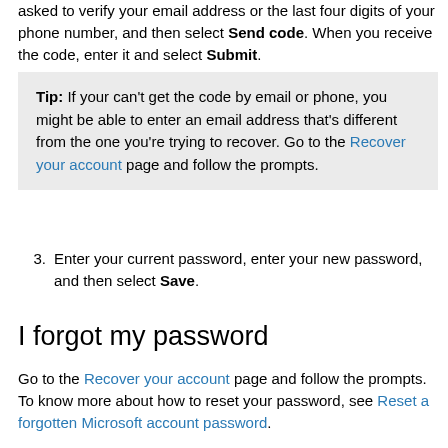asked to verify your email address or the last four digits of your phone number, and then select Send code. When you receive the code, enter it and select Submit.
Tip: If your can't get the code by email or phone, you might be able to enter an email address that's different from the one you're trying to recover. Go to the Recover your account page and follow the prompts.
3. Enter your current password, enter your new password, and then select Save.
I forgot my password
Go to the Recover your account page and follow the prompts. To know more about how to reset your password, see Reset a forgotten Microsoft account password.